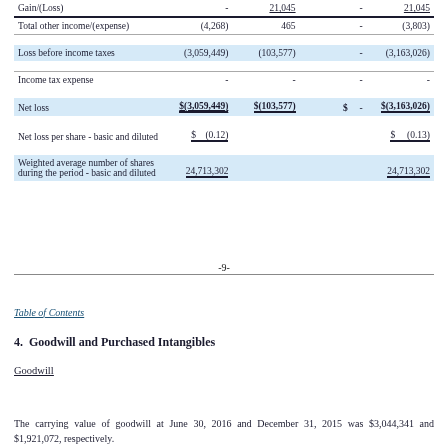|  |  |  |  |  |
| --- | --- | --- | --- | --- |
| Gain/(Loss) | - | 21,045 | - | 21,045 |
| Total other income/(expense) | (4,268) | 465 | - | (3,803) |
| Loss before income taxes | (3,059,449) | (103,577) | - | (3,163,026) |
| Income tax expense | - | - | - | - |
| Net loss | $(3,059,449) | $(103,577) | $  - | $(3,163,026) |
| Net loss per share - basic and diluted | $  (0.12) |  |  | $  (0.13) |
| Weighted average number of shares during the period - basic and diluted | 24,713,302 |  |  | 24,713,302 |
-9-
Table of Contents
4.  Goodwill and Purchased Intangibles
Goodwill
The carrying value of goodwill at June 30, 2016 and December 31, 2015 was $3,044,341 and $1,921,072, respectively.